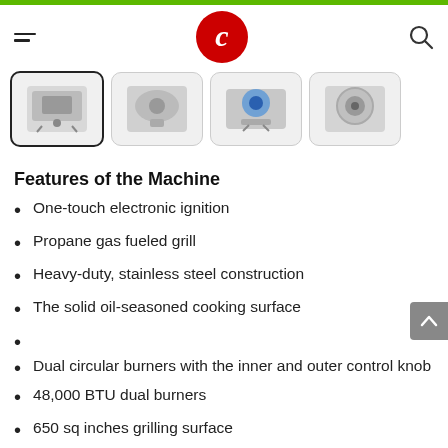[Figure (screenshot): Green top bar of a website]
C (logo) — hamburger menu left, search icon right
[Figure (photo): Four product thumbnail images of a propane grill/burner machine]
Features of the Machine
One-touch electronic ignition
Propane gas fueled grill
Heavy-duty, stainless steel construction
The solid oil-seasoned cooking surface
Dual circular burners with the inner and outer control knob
48,000 BTU dual burners
650 sq inches grilling surface